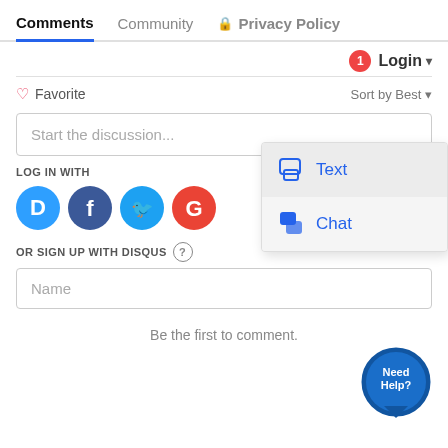Comments  Community  Privacy Policy
Login
Favorite   Sort by Best
Start the discussion...
LOG IN WITH
[Figure (illustration): Four social login icons: Disqus (blue speech bubble with D), Facebook (dark blue circle with f), Twitter (light blue circle with bird), Google (red circle with G)]
OR SIGN UP WITH DISQUS ?
Name
[Figure (screenshot): Dropdown menu with two options: Text (with speech bubble icon) and Chat (with chat icon)]
Be the first to comment.
[Figure (illustration): Need Help? speech bubble button in dark blue]